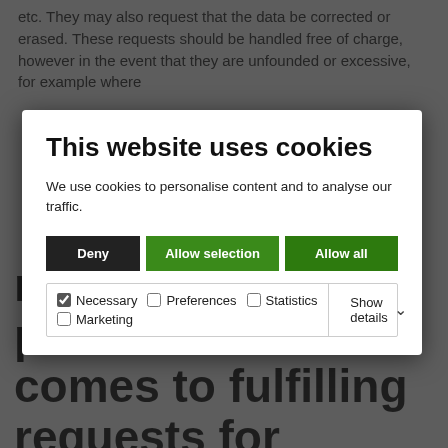etc. They may also request that the data be corrected or erased. These requests should be handled free of charge, however in the event that they are unfounded or excessive, for example where
[Figure (screenshot): Cookie consent modal dialog with title 'This website uses cookies', description text, three buttons (Deny, Allow selection, Allow all), and cookie category checkboxes (Necessary checked, Preferences, Statistics, Marketing) with a Show details dropdown.]
rights of third parties when it comes to fulfilling requests for copies of professional emails.
Employees may request access to professional emails where they